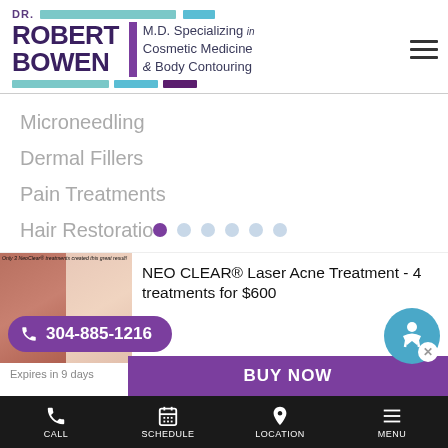[Figure (logo): Dr. Robert Bowen M.D. logo with colored bars and subtitle 'Specializing in Cosmetic Medicine & Body Contouring']
Microneedling
Dermal Fillers
Pain Treatments
Hair Restoration
[Figure (photo): Before and after skin/acne treatment photo comparison with label 'Only 3 NeoClear treatments created this great result!']
NEO CLEAR® Laser Acne Treatment - 4 treatments for $600
Expires in 9 days
Available 14
304-885-1216
BUY NOW
CALL   SCHEDULE   LOCATION   MENU